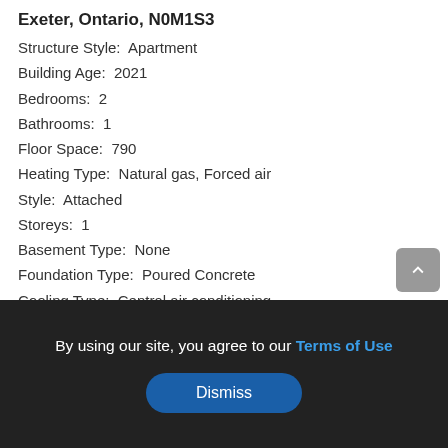Exeter, Ontario, N0M1S3
Structure Style:  Apartment
Building Age:  2021
Bedrooms:  2
Bathrooms:  1
Floor Space:  790
Heating Type:  Natural gas, Forced air
Style:  Attached
Storeys:  1
Basement Type:  None
Foundation Type:  Poured Concrete
Cooling Type:  Central air conditioning
Appliances Included:  Dishwasher, Dryer, Refrigerator,
Stove, Washer, Microwave, Built-in, Window, Garage...
By using our site, you agree to our Terms of Use
Dismiss